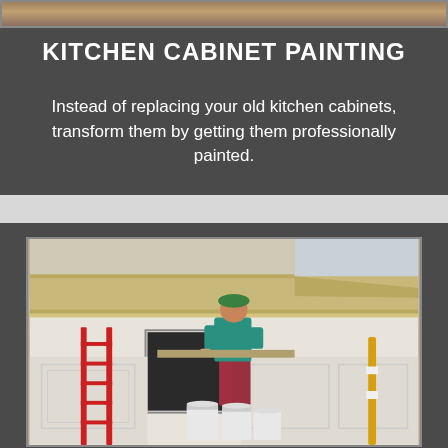[Figure (photo): Top strip photo showing kitchen cabinets]
KITCHEN CABINET PAINTING
Instead of replacing your old kitchen cabinets, transform them by getting them professionally painted.
[Figure (photo): Photo of a painter in green shirt, red overalls, and green hard hat, painting the exterior of a white building with decorative molding, standing above white paint buckets. A red ladder visible on left, yellow pole on right.]